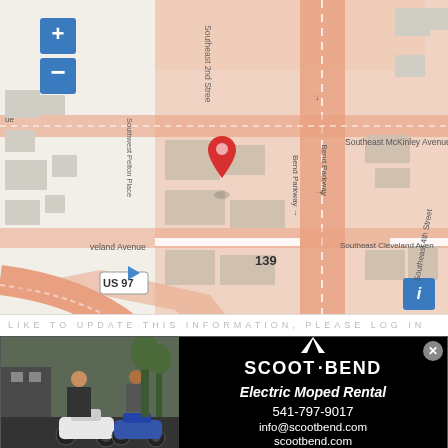[Figure (map): Street map of Bend, Oregon showing Bend Parkway (US 97), Southeast McKinley Avenue, Southeast Cleveland Avenue, Southeast 2nd Street, Southeast 3rd Street, Southeast 4th Street, Lionel Lane, Southwest Pelton Place, with a red location pin marker in the center of the map. Map includes zoom +/- controls, road labels, building footprints, and a US 97 highway shield.]
[Figure (infographic): Advertisement for Scoot Bend Electric Moped Rental. Left side shows a photo of two people with electric mopeds. Right side on black background shows: SCOOT·BEND logo with mountain graphic, 'Electric Moped Rental' tagline, phone 541-797-9017, email info@scootbend.com, website scootbend.com.]